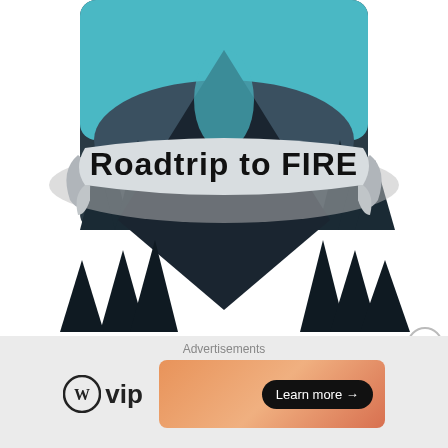[Figure (illustration): Roadtrip to FIRE blog logo: forest scene with trees and river, dark triangular mountain shape, banner ribbon reading 'Roadtrip to FIRE' in bold black text]
[Figure (other): Blue WordPress follow button reading 'Follow Roadtrip to FIRE' with WordPress logo icon]
Check out
SimplyWallStreet
to analyze stocks
[Figure (other): Close/dismiss button (X in circle) in upper right of ad bar]
Advertisements
[Figure (logo): WordPress VIP logo: WordPress W circle icon followed by 'vip' text]
[Figure (other): Advertisement banner with gradient peach/salmon background and 'Learn more →' button in dark pill shape]